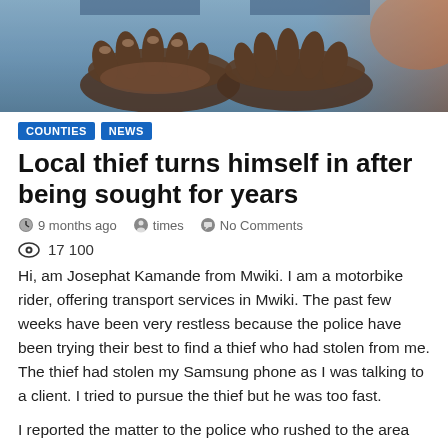[Figure (photo): Close-up photo of two hands cupped/open, wearing jeans, with blurred blue/orange background]
COUNTIES
NEWS
Local thief turns himself in after being sought for years
9 months ago   times   No Comments
17 100
Hi, am Josephat Kamande from Mwiki. I am a motorbike rider, offering transport services in Mwiki. The past few weeks have been very restless because the police have been trying their best to find a thief who had stolen from me. The thief had stolen my Samsung phone as I was talking to a client. I tried to pursue the thief but he was too fast.
I reported the matter to the police who rushed to the area